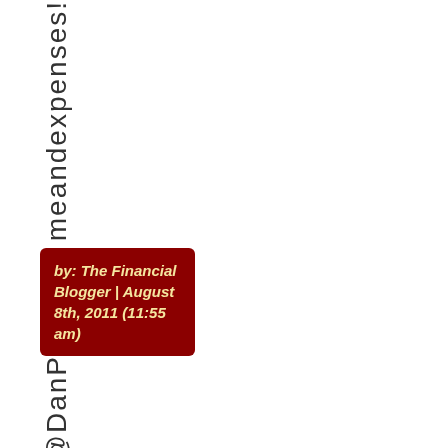meandexpenses!
by: The Financial Blogger | August 8th, 2011 (11:55 am)
@DanP